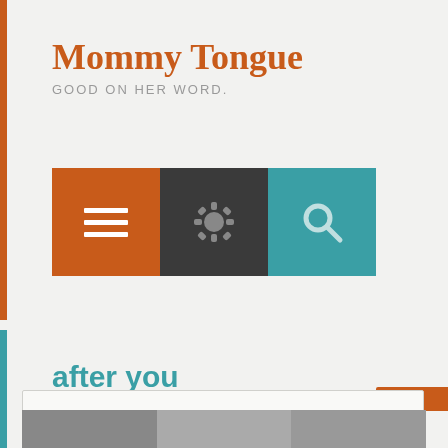Mommy Tongue
GOOD ON HER WORD.
[Figure (screenshot): Three icon buttons in a row: orange hamburger menu icon, dark gray gear/settings icon, teal search/magnifying glass icon]
after you
Privacy & Cookies: This site uses cookies. By continuing to use this website, you agree to their use.
To find out more, including how to control cookies, see here: Cookie Policy
Close and accept